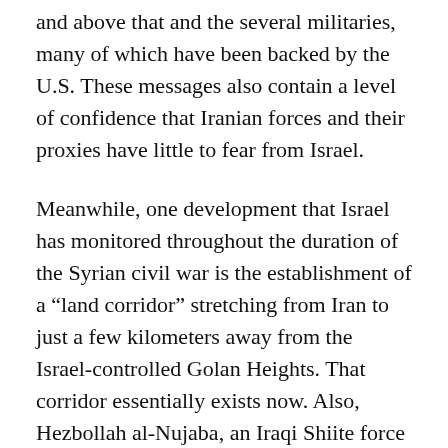and above that and the several militaries, many of which have been backed by the U.S. These messages also contain a level of confidence that Iranian forces and their proxies have little to fear from Israel.
Meanwhile, one development that Israel has monitored throughout the duration of the Syrian civil war is the establishment of a “land corridor” stretching from Iran to just a few kilometers away from the Israel-controlled Golan Heights. That corridor essentially exists now. Also, Hezbollah al-Nujaba, an Iraqi Shiite force supported by Iran, has formed a “Golan Liberation” unit and declared itself “ready to take action to liberate the Golan.” Additionally, senior officers and officials with the Islamic Revolutionary Guard Corps and the Basij have also been